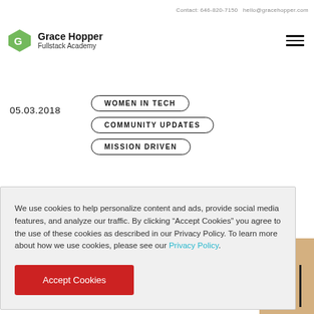Contact: 646-820-7150  hello@gracehopper.com
Grace Hopper Fullstack Academy
05.03.2018
WOMEN IN TECH
COMMUNITY UPDATES
MISSION DRIVEN
We use cookies to help personalize content and ads, provide social media features, and analyze our traffic. By clicking “Accept Cookies” you agree to the use of these cookies as described in our Privacy Policy. To learn more about how we use cookies, please see our Privacy Policy.
Accept Cookies